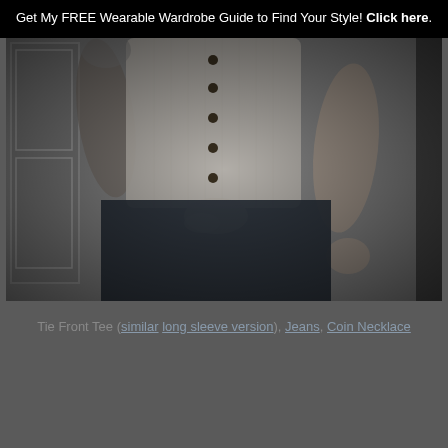Get My FREE Wearable Wardrobe Guide to Find Your Style! Click here.
[Figure (photo): Dark, dimly lit photo of a person from the neck down wearing a white/grey button-up tie-front tee and dark jeans, standing in front of a white door or wall.]
Tie Front Tee (similar long sleeve version), Jeans, Coin Necklace